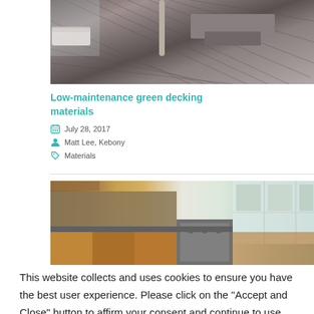[Figure (photo): Photo of a modern wooden deck with diagonal planks, outdoor furniture, and glass wall building in background]
Low-maintenance green decking materials
July 28, 2017
Matt Lee, Kebony
Materials
[Figure (photo): Photo of a modern kitchen with wooden cabinets, stone backsplash, stainless steel appliances, and large windows]
This website collects and uses cookies to ensure you have the best user experience. Please click on the "Accept and Close" button to affirm your consent and continue to use our website. For more